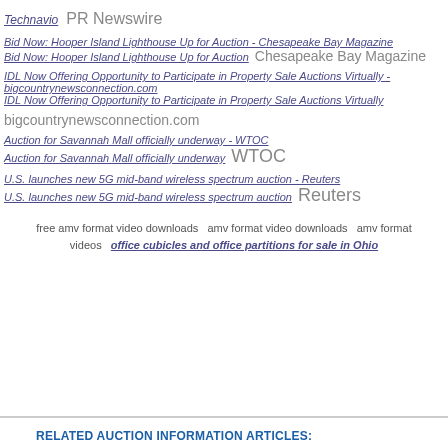Technavio   PR Newswire
Bid Now: Hooper Island Lighthouse Up for Auction - Chesapeake Bay Magazine
Bid Now: Hooper Island Lighthouse Up for Auction   Chesapeake Bay Magazine
IDL Now Offering Opportunity to Participate in Property Sale Auctions Virtually - bigcountrynewsconnection.com
IDL Now Offering Opportunity to Participate in Property Sale Auctions Virtually   bigcountrynewsconnection.com
Auction for Savannah Mall officially underway - WTOC
Auction for Savannah Mall officially underway   WTOC
U.S. launches new 5G mid-band wireless spectrum auction - Reuters
U.S. launches new 5G mid-band wireless spectrum auction   Reuters
free amv format video downloads   amv format video downloads   amv format videos   office cubicles and office partitions for sale in Ohio
RELATED AUCTION INFORMATION ARTICLES: